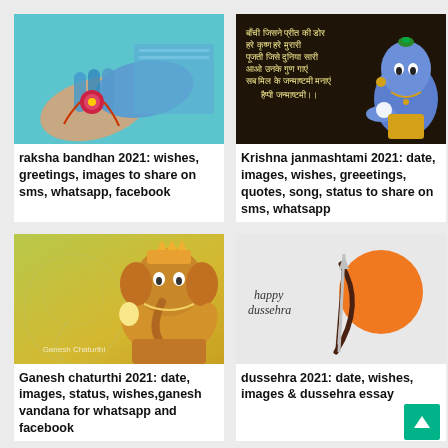[Figure (photo): Hands tying a rakhi bracelet, woman in teal/blue bangles]
raksha bandhan 2021: wishes, greetings, images to share on sms, whatsapp, facebook
[Figure (illustration): Krishna Janmashtami - animated blue Krishna character with Hindi text greeting on dark background]
Krishna janmashtami 2021: date, images, wishes, greeetings, quotes, song, status to share on sms, whatsapp
[Figure (illustration): Ganesh Chaturthi - golden Ganesha statue on yellow-green background with watermark text Ganesh Chaturthi]
Ganesh chaturthi 2021: date, images, status, wishes,ganesh vandana for whatsapp and facebook
[Figure (illustration): Dussehra - happy dussehra text with bow and arrow silhouette against orange sun on grey background]
dussehra 2021: date, wishes, images & dussehra essay